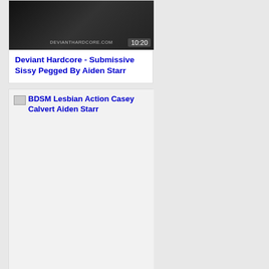[Figure (screenshot): Video thumbnail showing dark image with DEVIANTHARDCORE.COM watermark, duration badge 10:20]
Deviant Hardcore - Submissive Sissy Pegged By Aiden Starr
[Figure (screenshot): Broken image placeholder showing text: BDSM Lesbian Action Casey Calvert Aiden Starr, with duration badge 31:16]
BDSM Lesbian Action Casey Calvert Aiden Starr
[Figure (photo): Outdoor photo of a young blonde woman in pink top with trees in background]